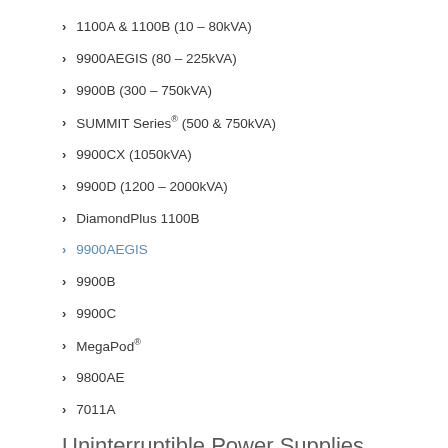1100A & 1100B (10 – 80kVA)
9900AEGIS (80 – 225kVA)
9900B (300 – 750kVA)
SUMMIT Series® (500 & 750kVA)
9900CX (1050kVA)
9900D (1200 – 2000kVA)
DiamondPlus 1100B
9900AEGIS
9900B
9900C
MegaPod®
9800AE
7011A
Uninterruptible Power Supplies Demo
Power Distribution Units